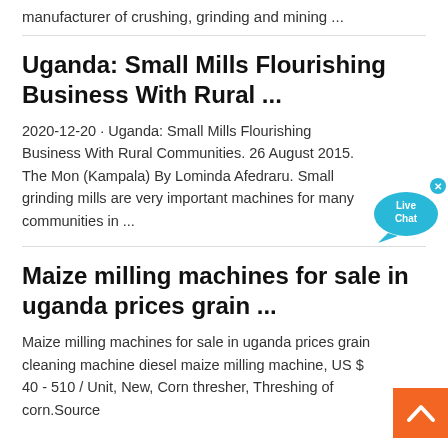manufacturer of crushing, grinding and mining ...
Uganda: Small Mills Flourishing Business With Rural ...
2020-12-20 · Uganda: Small Mills Flourishing Business With Rural Communities. 26 August 2015. The Mon (Kampala) By Lominda Afedraru. Small grinding mills are very important machines for many communities in ...
Maize milling machines for sale in uganda prices grain ...
Maize milling machines for sale in uganda prices grain cleaning machine diesel maize milling machine, US $ 40 - 510 / Unit, New, Corn thresher, Threshing of corn.Source